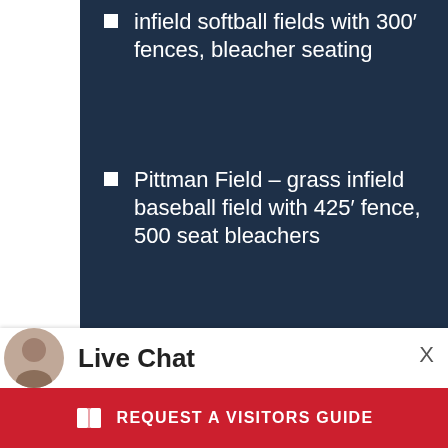infield softball fields with 300' fences, bleacher seating
Pittman Field – grass infield baseball field with 425' fence, 500 seat bleachers
Concession Stand
1701 STADIUM DRIVE
(334) 673-4803
VISIT OUR WEBSITE
Live Chat
X
REQUEST A VISITORS GUIDE